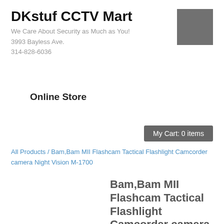DKstuf CCTV Mart
We Care About Security as Much as You!
3993 Bayless Ave.
314-828-6036
[Figure (other): Gray square logo placeholder]
Online Store
My Cart: 0 items
All Products / Bam,Bam MII Flashcam Tactical Flashlight Camcorder camera Night Vision M-1700
Bam,Bam MII Flashcam Tactical Flashlight Camcorder camera Night Vision M-1700